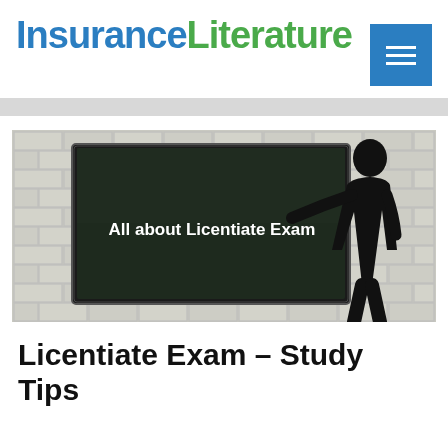InsuranceLiterature
[Figure (illustration): A whiteboard/blackboard against a white brick wall with text 'All about Licentiate Exam' written on it, and a male silhouette figure standing to the right pointing at the board.]
Licentiate Exam – Study Tips